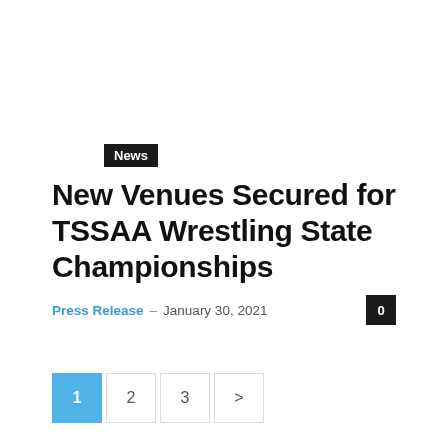News
New Venues Secured for TSSAA Wrestling State Championships
Press Release – January 30, 2021  0
[Figure (other): Pagination controls: page 1 (active, blue), page 2, page 3, next arrow (>)]
- Advertisment -